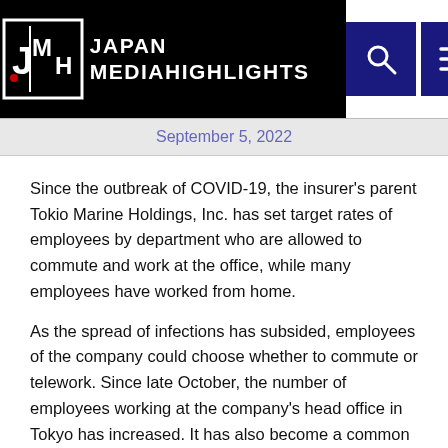JAPAN MEDIA HIGHLIGHTS
September 5, 2022
Since the outbreak of COVID-19, the insurer's parent Tokio Marine Holdings, Inc. has set target rates of employees by department who are allowed to commute and work at the office, while many employees have worked from home.
As the spread of infections has subsided, employees of the company could choose whether to commute or telework. Since late October, the number of employees working at the company's head office in Tokyo has increased. It has also become a common sight in the company for teleworkers to have videoconferences with employees who are in the office.
But employees of sales departments, who regularly meets customers and business partners, often feel inconvenienced,